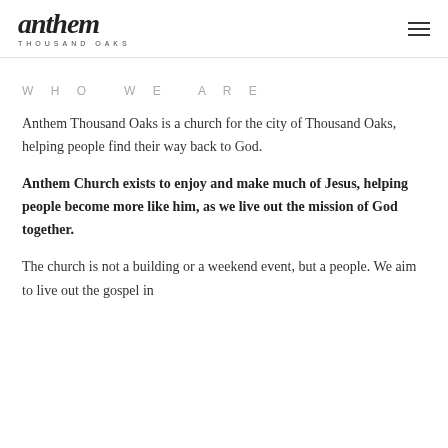anthem THOUSAND OAKS
WHO WE ARE
Anthem Thousand Oaks is a church for the city of Thousand Oaks, helping people find their way back to God.
Anthem Church exists to enjoy and make much of Jesus, helping people become more like him, as we live out the mission of God together.
The church is not a building or a weekend event, but a people. We aim to live out the gospel in